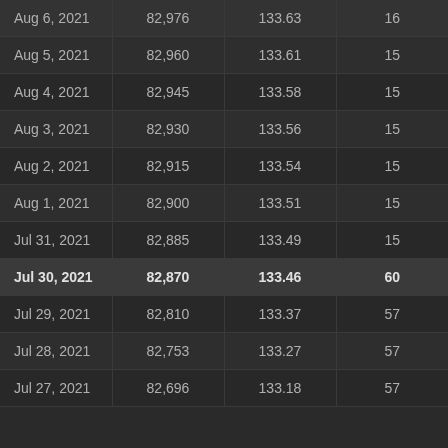| Date |  |  |  |
| --- | --- | --- | --- |
| Aug 6, 2021 | 82,976 | 133.63 | 16 |
| Aug 5, 2021 | 82,960 | 133.61 | 15 |
| Aug 4, 2021 | 82,945 | 133.58 | 15 |
| Aug 3, 2021 | 82,930 | 133.56 | 15 |
| Aug 2, 2021 | 82,915 | 133.54 | 15 |
| Aug 1, 2021 | 82,900 | 133.51 | 15 |
| Jul 31, 2021 | 82,885 | 133.49 | 15 |
| Jul 30, 2021 | 82,870 | 133.46 | 60 |
| Jul 29, 2021 | 82,810 | 133.37 | 57 |
| Jul 28, 2021 | 82,753 | 133.27 | 57 |
| Jul 27, 2021 | 82,696 | 133.18 | 57 |